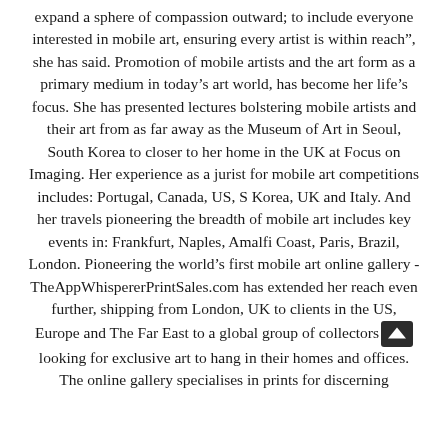expand a sphere of compassion outward; to include everyone interested in mobile art, ensuring every artist is within reach”, she has said. Promotion of mobile artists and the art form as a primary medium in today’s art world, has become her life’s focus. She has presented lectures bolstering mobile artists and their art from as far away as the Museum of Art in Seoul, South Korea to closer to her home in the UK at Focus on Imaging. Her experience as a jurist for mobile art competitions includes: Portugal, Canada, US, S Korea, UK and Italy. And her travels pioneering the breadth of mobile art includes key events in: Frankfurt, Naples, Amalfi Coast, Paris, Brazil, London. Pioneering the world’s first mobile art online gallery - TheAppWhispererPrintSales.com has extended her reach even further, shipping from London, UK to clients in the US, Europe and The Far East to a global group of collectors looking for exclusive art to hang in their homes and offices. The online gallery specialises in prints for discerning